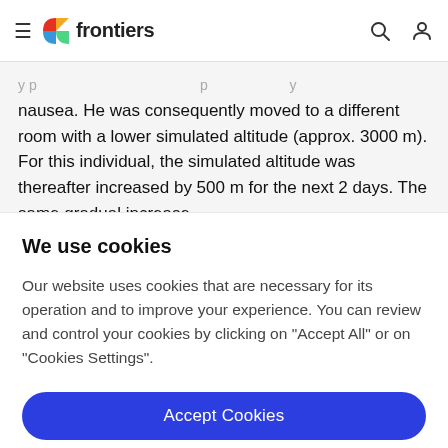frontiers
nausea. He was consequently moved to a different room with a lower simulated altitude (approx. 3000 m). For this individual, the simulated altitude was thereafter increased by 500 m for the next 2 days. The same gradual increase
We use cookies
Our website uses cookies that are necessary for its operation and to improve your experience. You can review and control your cookies by clicking on "Accept All" or on "Cookies Settings".
Accept Cookies
Cookies Settings